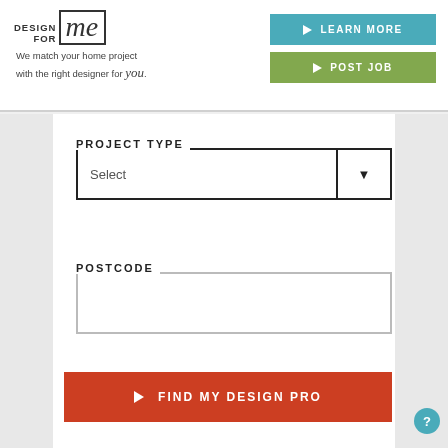[Figure (logo): Design For Me logo with stylized 'me' in italic script inside a box, with tagline 'We match your home project with the right designer for you.']
LEARN MORE
POST JOB
PROJECT TYPE
Select
POSTCODE
FIND MY DESIGN PRO